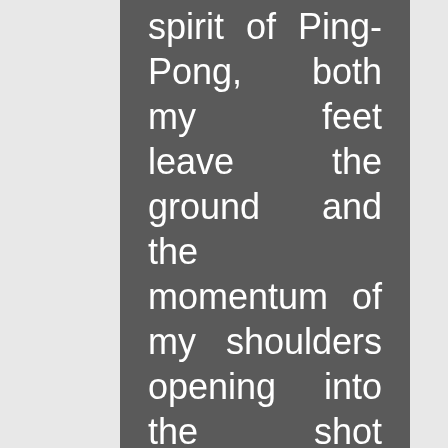spirit of Ping-Pong, both my feet leave the ground and the momentum of my shoulders opening into the shot swings my arm through the ball. The black rubber of my paddle